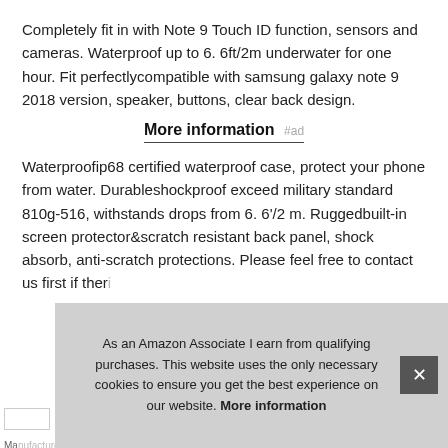Completely fit in with Note 9 Touch ID function, sensors and cameras. Waterproof up to 6. 6ft/2m underwater for one hour. Fit perfectlycompatible with samsung galaxy note 9 2018 version, speaker, buttons, clear back design.
More information #ad
Waterproofip68 certified waterproof case, protect your phone from water. Durableshockproof exceed military standard 810g-516, withstands drops from 6. 6'/2 m. Ruggedbuilt-in screen protector&scratch resistant back panel, shock absorb, anti-scratch protections. Please feel free to contact us first if ther...
As an Amazon Associate I earn from qualifying purchases. This website uses the only necessary cookies to ensure you get the best experience on our website. More information